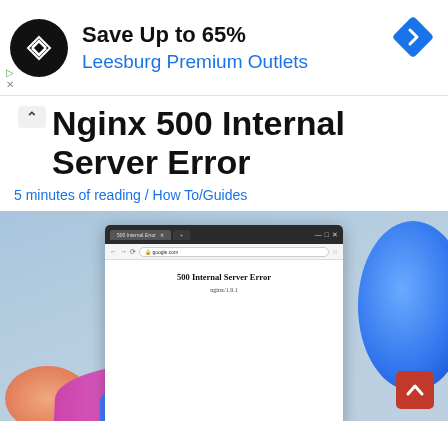[Figure (screenshot): Advertisement banner: black circular logo with double arrow symbol, text 'Save Up to 65%' and 'Leesburg Premium Outlets' in blue, blue diamond navigation icon on right]
Nginx 500 Internal Server Error
5 minutes of reading / How To/Guides
[Figure (screenshot): Screenshot showing a browser window displaying a 500 Internal Server Error page with 'nginx/1.9.1' text, on a Windows 11 style colorful background with blue, peach, and purple swirls]